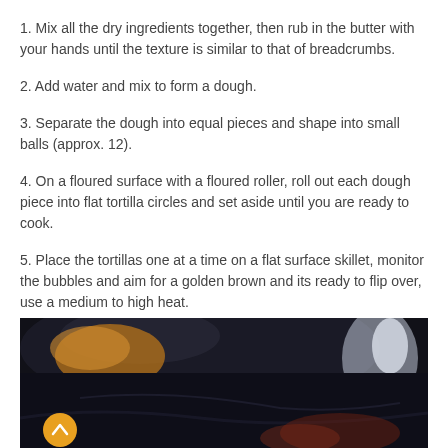1. Mix all the dry ingredients together, then rub in the butter with your hands until the texture is similar to that of breadcrumbs.
2. Add water and mix to form a dough.
3. Separate the dough into equal pieces and shape into small balls (approx. 12).
4. On a floured surface with a floured roller, roll out each dough piece into flat tortilla circles and set aside until you are ready to cook.
5. Place the tortillas one at a time on a flat surface skillet, monitor the bubbles and aim for a golden brown and its ready to flip over, use a medium to high heat.
[Figure (photo): Dark cooking skillet/pan photographed from above, showing a dark flat surface with reflective highlights, used to cook tortillas.]